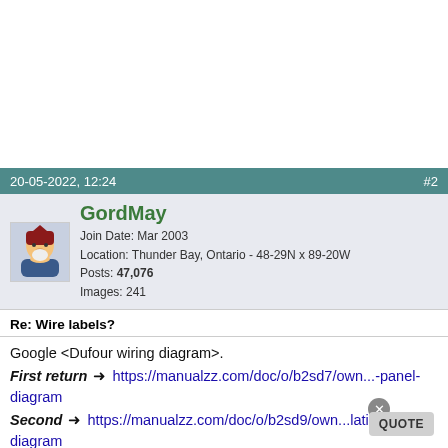20-05-2022, 12:24   #2
GordMay
Join Date: Mar 2003
Location: Thunder Bay, Ontario - 48-29N x 89-20W
Posts: 47,076
Images: 241
Re: Wire labels?
Google <Dufour wiring diagram>.
First return ➜ https://manualzz.com/doc/o/b2sd7/own...-panel-diagram
Second ➜ https://manualzz.com/doc/o/b2sd9/own...lation-diagram
Third ➜ https://www.manualslib.com/manual/16...e.html?page=55